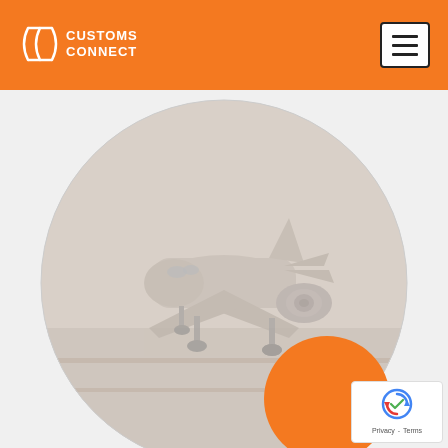Customs Connect - header with logo and navigation menu
[Figure (photo): Circular-cropped faded grayscale photograph of a commercial airplane (front-facing, with engines and landing gear visible) parked on a tarmac at an airport, with an orange decorative circle overlapping the lower right portion of the main circle.]
[Figure (logo): reCAPTCHA badge with rotating arrow logo and Privacy - Terms links]